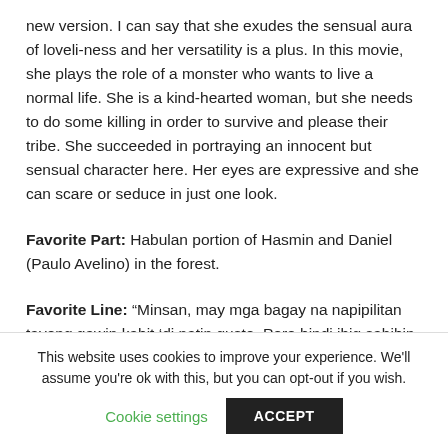new version. I can say that she exudes the sensual aura of loveli-ness and her versatility is a plus. In this movie, she plays the role of a monster who wants to live a normal life. She is a kind-hearted woman, but she needs to do some killing in order to survive and please their tribe. She succeeded in portraying an innocent but sensual character here. Her eyes are expressive and she can scare or seduce in just one look.
Favorite Part: Habulan portion of Hasmin and Daniel (Paulo Avelino) in the forest.
Favorite Line: “Minsan, may mga bagay na napipilitan tayong gawin kahit ‘di natin gusto. Pero hindi ibig sabihin nu’n ay masama na tayo.” Hasmin while talking to Daniel.
This website uses cookies to improve your experience. We'll assume you're ok with this, but you can opt-out if you wish.
Cookie settings
ACCEPT